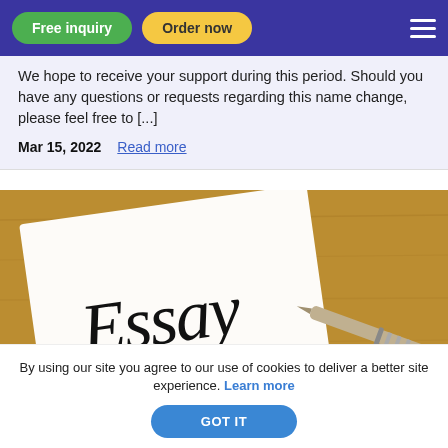Free inquiry | Order now
We hope to receive your support during this period. Should you have any questions or requests regarding this name change, please feel free to [...]
Mar 15, 2022  Read more
[Figure (photo): Photo of a white note card with 'Essay' written in handwriting, a pen resting on a cardboard/kraft paper background]
By using our site you agree to our use of cookies to deliver a better site experience. Learn more
GOT IT